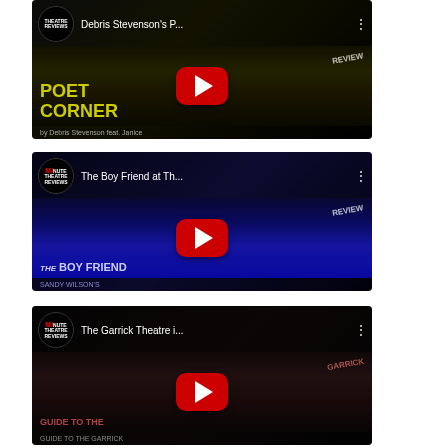[Figure (screenshot): YouTube video thumbnail: 'Debris Stevenson's P...' - Poet Corner review, Theatre Reviews channel, yellow text on dark background]
[Figure (screenshot): YouTube video thumbnail: 'The Boy Friend at Th...' - The Boy Friend musical review, Minute Theatre Reviews channel, blue/purple background]
[Figure (screenshot): YouTube video thumbnail: 'The Garrick Theatre i...' - The Garrick Theatre review, Minute Theatre Reviews channel, dark moody background]